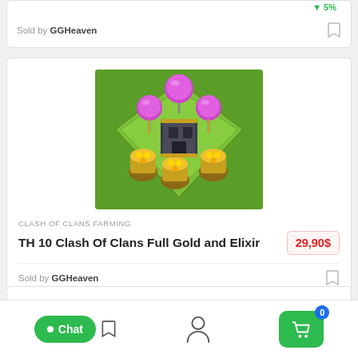5%
Sold by GGHeaven
[Figure (screenshot): Clash of Clans game screenshot showing a Town Hall 10 base with purple air defense towers and gold storage buildings on a green diamond-shaped grass tile]
CLASH OF CLANS FARMING
TH 10 Clash Of Clans Full Gold and Elixir
29,90$
Sold by GGHeaven
Chat
0